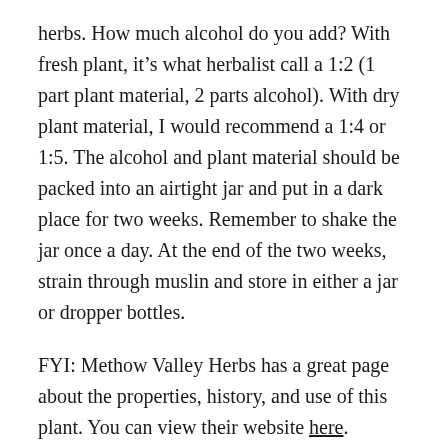herbs. How much alcohol do you add? With fresh plant, it's what herbalist call a 1:2 (1 part plant material, 2 parts alcohol). With dry plant material, I would recommend a 1:4 or 1:5. The alcohol and plant material should be packed into an airtight jar and put in a dark place for two weeks. Remember to shake the jar once a day. At the end of the two weeks, strain through muslin and store in either a jar or dropper bottles.
FYI: Methow Valley Herbs has a great page about the properties, history, and use of this plant. You can view their website here.
Posted in DIY, herbalism